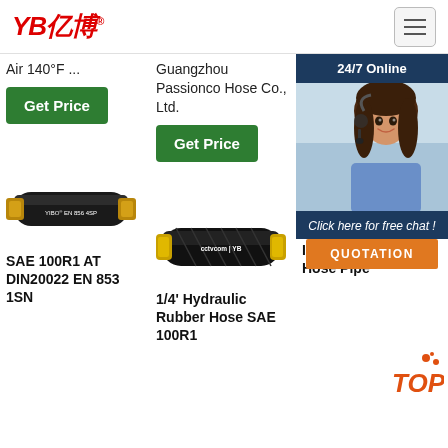YB亿博 navigation header
Air 140°F ...
Guangzhou Passionco Hose Co., Ltd.
wire reinforcement.
[Figure (screenshot): Green 'Get Price' button, column 1]
[Figure (screenshot): Green 'Get Price' button, column 2]
[Figure (screenshot): 24/7 Online chat popup with agent photo, 'Click here for free chat!' and QUOTATION button]
[Figure (photo): Hydraulic rubber hose with YIBO EN 856 4SP label - black hose with brass fittings]
[Figure (photo): Hydraulic rubber hose with cctvcom | YB label - black braid hose with gold fittings]
[Figure (photo): Partial view of dark hydraulic hose, column 3]
SAE 100R1 AT DIN20022 EN 853 1SN
1/4' Hydraulic Rubber Hose SAE 100R1
I.D. 1 4' Hydraulic Hose Pipe